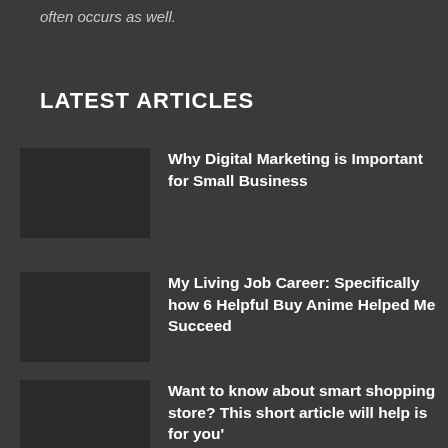often occurs as well.
LATEST ARTICLES
Why Digital Marketing is Important for Small Business
My Living Job Career: Specifically how 6 Helpful Buy Anime Helped Me Succeed
Want to know about smart shopping store? This short article will help is for you'